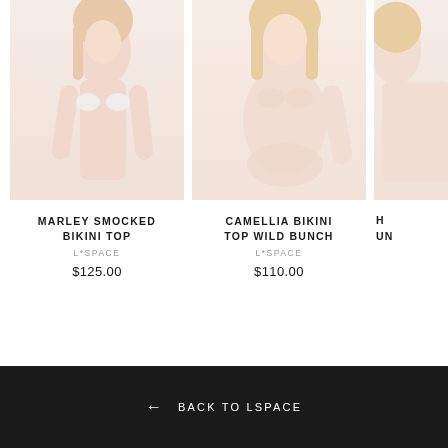[Figure (photo): Partial view of model wearing Marley Smocked Bikini Top (white floral pattern), cropped at top]
MARLEY SMOCKED BIKINI TOP
L*SPACE
$125.00
[Figure (photo): Partial view of model wearing Camellia Bikini Top Wild Bunch (nude/blush pattern), cropped at top]
CAMELLIA BIKINI TOP WILD BUNCH
L*SPACE
$110.00
[Figure (photo): Partial view of third product, cut off on right edge, showing H and UN text fragments]
H
UN
← BACK TO LSPACE